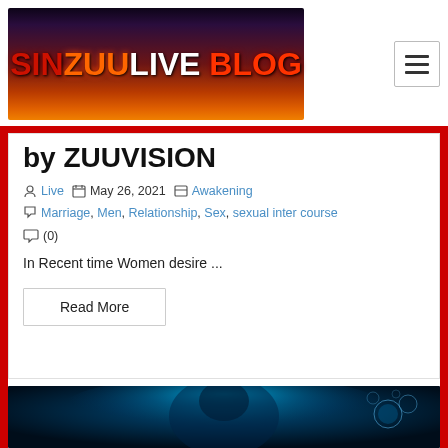[Figure (logo): SINZUULIVE BLOG logo with red and orange text on dark gradient background]
by ZUUVISION
Live  May 26, 2021  Awakening
Marriage, Men, Relationship, Sex, sexual intercourse
(0)
In Recent time Women desire ...
Read More
[Figure (photo): Underwater scene with blue glowing light and a figure, with bubbles on the right side]